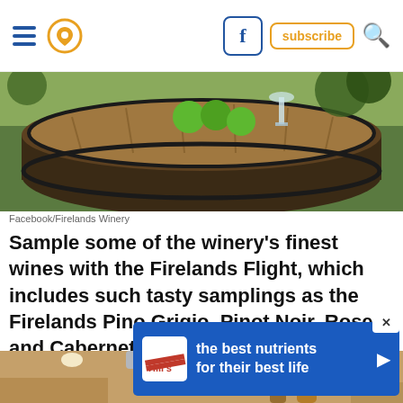Navigation bar with hamburger menu, location pin icon, Facebook button, subscribe button, search icon
[Figure (photo): Wine barrel top with limes/apples and a glass on top, green foliage in background]
Facebook/Firelands Winery
Sample some of the winery's finest wines with the Firelands Flight, which includes such tasty samplings as the Firelands Pino Grigio, Pinot Noir, Rose, and Cabernet Franc.
[Figure (photo): Interior of winery/bar with warm lighting, skylights, wine bottles and barrels visible]
[Figure (infographic): Hill's Pet Nutrition advertisement: 'the best nutrients for their best life' with Hill's logo on blue background]